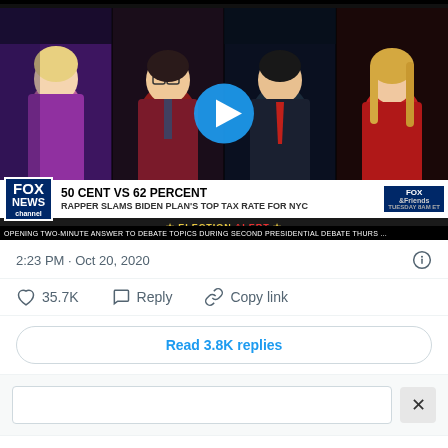[Figure (screenshot): Screenshot of a tweet showing a Fox News video thumbnail. The thumbnail shows four television panelists in a grid, with a play button overlay. The Fox News chyron reads '50 CENT VS 62 PERCENT / RAPPER SLAMS BIDEN PLAN'S TOP TAX RATE FOR NYC' with an 'ELECTION ALERT' banner. A ticker at the bottom reads 'OPENING TWO-MINUTE ANSWER TO DEBATE TOPICS DURING SECOND PRESIDENTIAL DEBATE THURS ...']
2:23 PM · Oct 20, 2020
35.7K  Reply  Copy link
Read 3.8K replies